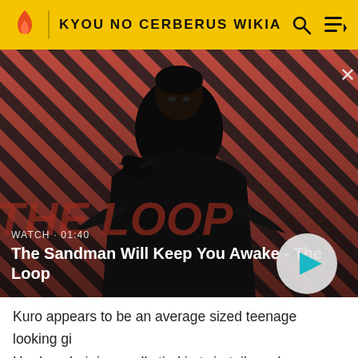KYOU NO CERBERUS WIKIA
[Figure (screenshot): Video thumbnail showing a dark-cloaked figure with a black bird on shoulder against a red and black diagonal striped background. Watch duration shown as 01:40. Title: The Sandman Will Keep You Awake - The Loop]
Kuro appears to be an average sized teenage looking gi Her long hair is usually tied in twin-tails and wears red headphones and also wears a school girl uniform with a chained collar on her neck. Kuro has blue hair that is put in a set of pigtails. Kuro also has a very childish face